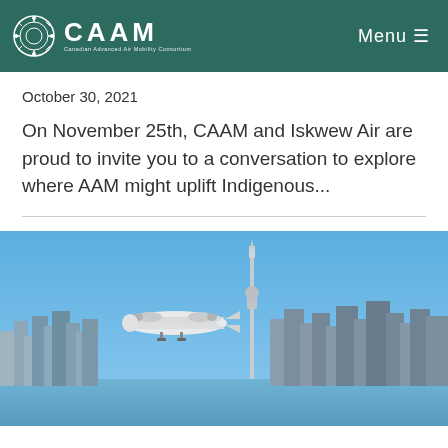CAAM — Canadian Advanced Air Mobility Consortium | Menu
October 30, 2021
On November 25th, CAAM and Iskwew Air are proud to invite you to a conversation to explore where AAM might uplift Indigenous...
[Figure (photo): A white twin-engine aircraft flying low in front of the Toronto city skyline with the CN Tower visible against a blue sky.]